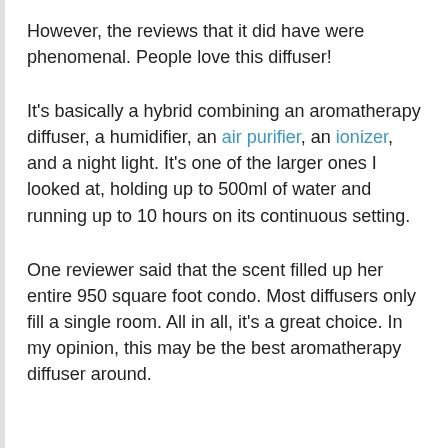However, the reviews that it did have were phenomenal. People love this diffuser!
It's basically a hybrid combining an aromatherapy diffuser, a humidifier, an air purifier, an ionizer, and a night light. It's one of the larger ones I looked at, holding up to 500ml of water and running up to 10 hours on its continuous setting.
One reviewer said that the scent filled up her entire 950 square foot condo. Most diffusers only fill a single room. All in all, it's a great choice. In my opinion, this may be the best aromatherapy diffuser around.